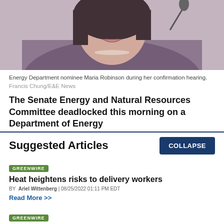[Figure (photo): Energy Department nominee Maria Robinson speaking at a confirmation hearing, shown from shoulders up, wearing a houndstooth jacket and pearl necklace, with a microphone visible.]
Energy Department nominee Maria Robinson during her confirmation hearing. Francis Chung/E&E News
The Senate Energy and Natural Resources Committee deadlocked this morning on a Department of Energy
Suggested Articles
COLLAPSE
GREENWIRE
Heat heightens risks to delivery workers
BY Ariel Wittenberg | 08/25/2022 01:11 PM EDT
Read More >>
GREENWIRE
Amid permit fight, White House touts money to speed reviews